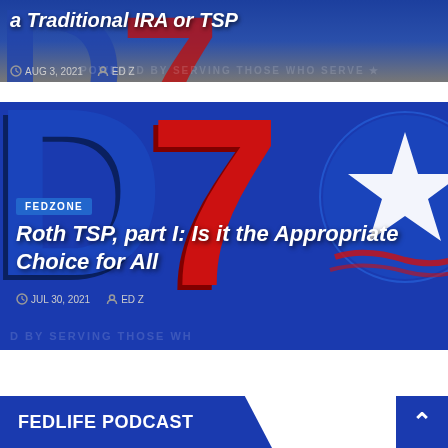[Figure (screenshot): Article card with dark blue and grey background showing partial title about Traditional IRA or TSP, with metadata showing AUG 3, 2021 and author ED Z, with watermark text POWERED BY SERVING THOSE WHO SERVE]
[Figure (screenshot): Article card with FedZone branding showing D70 logo with blue D, red 7, and blue circle with star. Title: Roth TSP, part I: Is it the Appropriate Choice for All. Date JUL 30, 2021, author ED Z. Watermark: D BY SERVING THOSE WH]
FEDLIFE PODCAST